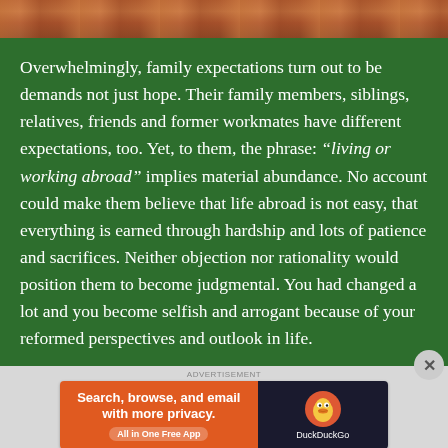[Figure (photo): Partial photo strip at top showing colorful objects on a dark surface]
Overwhelmingly, family expectations turn out to be demands not just hope. Their family members, siblings, relatives, friends and former workmates have different expectations, too. Yet, to them, the phrase: “living or working abroad” implies material abundance. No account could make them believe that life abroad is not easy, that everything is earned through hardship and lots of patience and sacrifices. Neither objection nor rationality would position them to become judgmental. You had changed a lot and you become selfish and arrogant because of your reformed perspectives and outlook in life.
[Figure (infographic): DuckDuckGo advertisement banner: Search, browse, and email with more privacy. All in One Free App. DuckDuckGo logo on right side.]